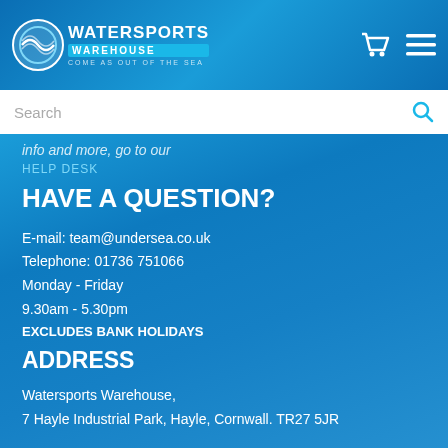[Figure (logo): Watersports Warehouse logo with circular wave graphic and text 'Come as out of the sea']
Search
info and more, go to our
HELP DESK
HAVE A QUESTION?
E-mail: team@undersea.co.uk
Telephone: 01736 751066
Monday - Friday
9.30am - 5.30pm
EXCLUDES BANK HOLIDAYS
ADDRESS
Watersports Warehouse,
7 Hayle Industrial Park, Hayle, Cornwall. TR27 5JR